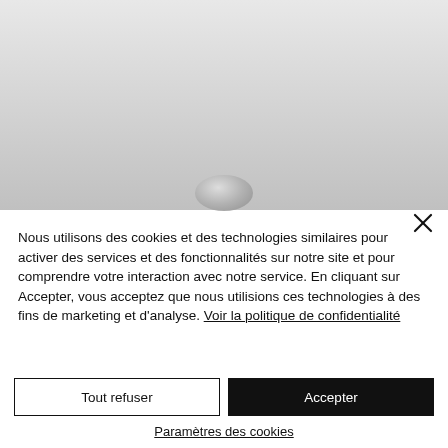[Figure (screenshot): Gray background area with a metallic coin/object partially visible at the bottom]
Nous utilisons des cookies et des technologies similaires pour activer des services et des fonctionnalités sur notre site et pour comprendre votre interaction avec notre service. En cliquant sur Accepter, vous acceptez que nous utilisions ces technologies à des fins de marketing et d'analyse. Voir la politique de confidentialité
Tout refuser
Accepter
Paramètres des cookies